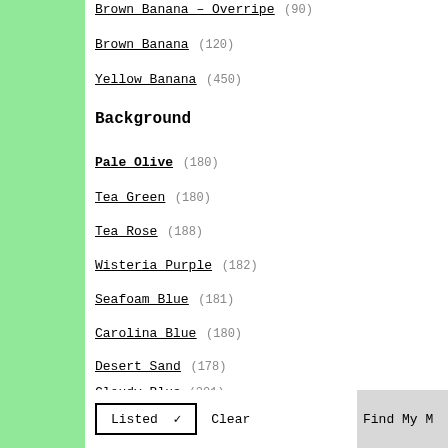Brown Banana – Overripe (90)
Brown Banana (120)
Yellow Banana (450)
Background
Pale Olive (180)
Tea Green (180)
Tea Rose (188)
Wisteria Purple (182)
Seafoam Blue (181)
Carolina Blue (180)
Desert Sand (178)
Cloudy Blue (201)
Solana Gradient (15)
Rainbow Gradient (15)
Listed ✓   Clear   Find My M…